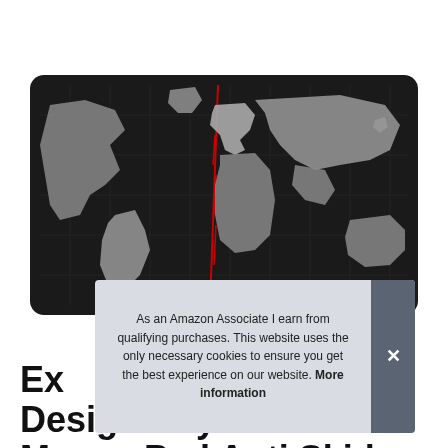[Figure (photo): A large extended gaming mouse pad with a world map design in dark/black background with grey/white continents and a red line detail, shown with rounded corners and a black border.]
As an Amazon Associate I earn from qualifying purchases. This website uses the only necessary cookies to ensure you get the best experience on our website. More information
Ex Design Keyboard Mouse Pad Anti Skid